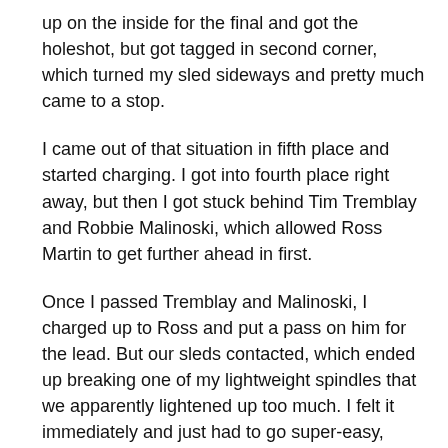up on the inside for the final and got the holeshot, but got tagged in second corner, which turned my sled sideways and pretty much came to a stop.
I came out of that situation in fifth place and started charging. I got into fourth place right away, but then I got stuck behind Tim Tremblay and Robbie Malinoski, which allowed Ross Martin to get further ahead in first.
Once I passed Tremblay and Malinoski, I charged up to Ross and put a pass on him for the lead. But our sleds contacted, which ended up breaking one of my lightweight spindles that we apparently lightened up too much. I felt it immediately and just had to go super-easy, pretty much just limping around the track for the last couple laps. I ended up fourth, which was kind of a bummer because I felt like I had the win if the spindle hadn't broken. Of course I don't know that for